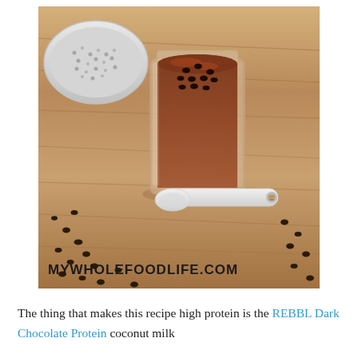[Figure (photo): A glass mason jar filled with chocolate chia pudding topped with mini chocolate chips, sitting on a wooden surface. A white ceramic spoon lies beside the jar. A bowl of chia seeds is visible in the upper left. Mini chocolate chips are scattered on the wooden surface. The URL MYWHOLEFOODLIFE.COM is watermarked at the bottom of the image.]
The thing that makes this recipe high protein is the REBBL Dark Chocolate Protein coconut milk